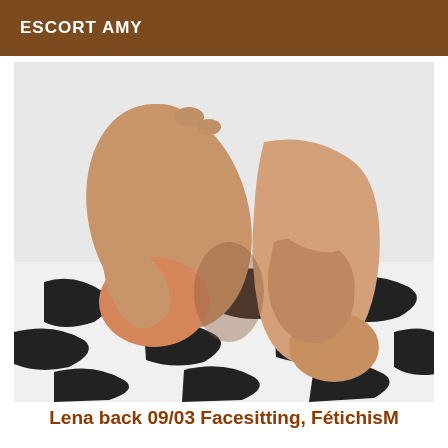ESCORT AMY
[Figure (photo): Close-up photograph of two feet/soles resting on a zebra-print black and white fabric background.]
Lena back 09/03 Facesitting, FétichisM